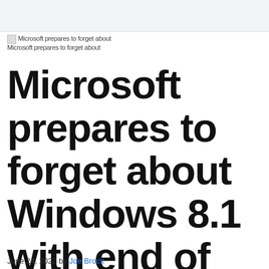Microsoft prepares to forget about Windows 8.1 with end of support notifications
Microsoft prepares to forget about Windows 8.1 with end of support about
Microsoft prepares to forget about Windows 8.1 with end of support notifications
June 24, 2022 by Joe Brock